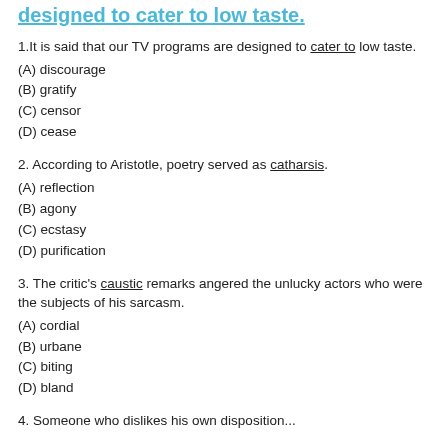designed to cater to low taste.
1.It is said that our TV programs are designed to cater to low taste.
(A) discourage
(B) gratify
(C) censor
(D) cease
2. According to Aristotle, poetry served as catharsis.
(A) reflection
(B) agony
(C) ecstasy
(D) purification
3. The critic's caustic remarks angered the unlucky actors who were the subjects of his sarcasm.
(A) cordial
(B) urbane
(C) biting
(D) bland
4. Someone who dislikes his own disposition...